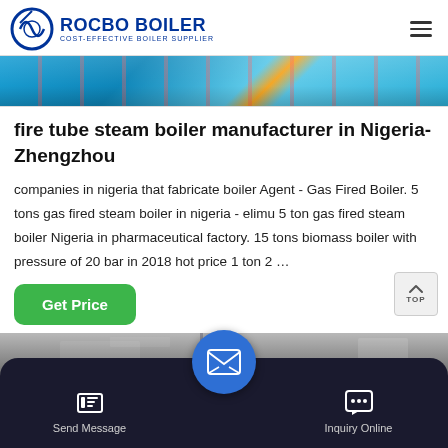ROCBO BOILER - COST-EFFECTIVE BOILER SUPPLIER
[Figure (photo): Blue industrial boiler equipment photo strip at top]
fire tube steam boiler manufacturer in Nigeria-Zhengzhou
companies in nigeria that fabricate boiler Agent - Gas Fired Boiler. 5 tons gas fired steam boiler in nigeria - elimu 5 ton gas fired steam boiler Nigeria in pharmaceutical factory. 15 tons biomass boiler with pressure of 20 bar in 2018 hot price 1 ton 2 …
[Figure (photo): Industrial factory interior bottom image strip]
Send Message | Inquiry Online